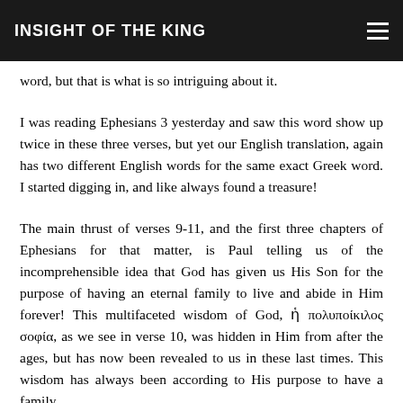INSIGHT OF THE KING
word, but that is what is so intriguing about it.
I was reading Ephesians 3 yesterday and saw this word show up twice in these three verses, but yet our English translation, again has two different English words for the same exact Greek word. I started digging in, and like always found a treasure!
The main thrust of verses 9-11, and the first three chapters of Ephesians for that matter, is Paul telling us of the incomprehensible idea that God has given us His Son for the purpose of having an eternal family to live and abide in Him forever! This multifaceted wisdom of God, ἡ πολυποίκιλος σοφία, as we see in verse 10, was hidden in Him from after the ages, but has now been revealed to us in these last times. This wisdom has always been according to His purpose to have a family.